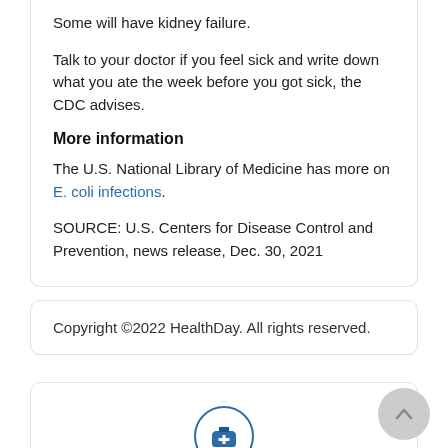Some will have kidney failure.
Talk to your doctor if you feel sick and write down what you ate the week before you got sick, the CDC advises.
More information
The U.S. National Library of Medicine has more on E. coli infections.
SOURCE: U.S. Centers for Disease Control and Prevention, news release, Dec. 30, 2021
Copyright ©2022 HealthDay. All rights reserved.
[Figure (illustration): Medical kit / first aid bag icon inside a circle outline, in blue tones]
See a doctor online